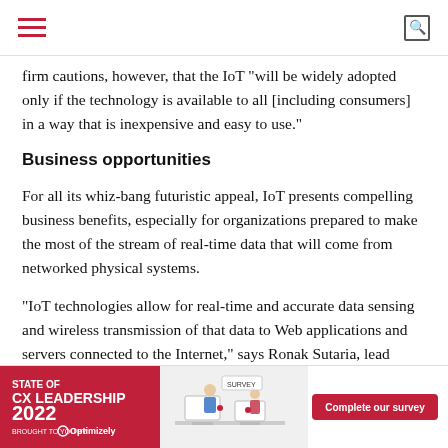Navigation header with hamburger menu and search icon
firm cautions, however, that the IoT "will be widely adopted only if the technology is available to all [including consumers] in a way that is inexpensive and easy to use."
Business opportunities
For all its whiz-bang futuristic appeal, IoT presents compelling business benefits, especially for organizations prepared to make the most of the stream of real-time data that will come from networked physical systems.
"IoT technologies allow for real-time and accurate data sensing and wireless transmission of that data to Web applications and servers connected to the Internet," says Ronak Sutaria, lead researcher at technology consulting firm Mindtree. "This leads to a more precise and accurate monitoring and control of physical systems."
IoT-rela                                                        riety of industri                                                       nies are monito                                                          of
[Figure (infographic): Advertisement banner: STATE OF CX LEADERSHIP 2022, BROUGHT TO YOU BY Optimizely, Complete our survey button, with illustration of people at computers]